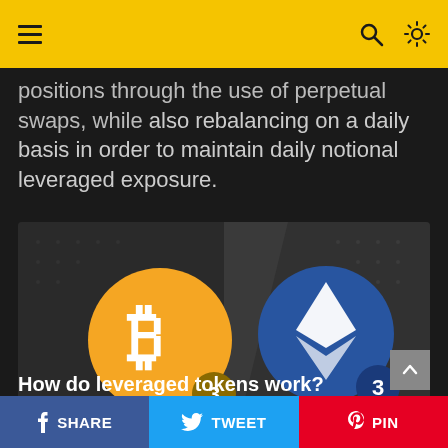navigation header with hamburger menu, search icon, and brightness icon
positions through the use of perpetual swaps, while also rebalancing on a daily basis in order to maintain daily notional leveraged exposure.
[Figure (illustration): Dark background image showing Bitcoin logo (orange circle with B symbol and number 3 badge) on the left and Ethereum logo (blue circle with diamond symbol and number 3 badge) on the right, representing 3x leveraged tokens.]
How do leveraged tokens work?
SHARE | TWEET | PIN